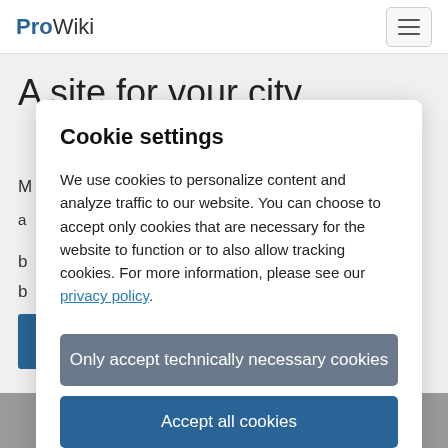ProWiki
A site for your city
Cookie settings
We use cookies to personalize content and analyze traffic to our website. You can choose to accept only cookies that are necessary for the website to function or to also allow tracking cookies. For more information, please see our privacy policy.
Only accept technically necessary cookies
Accept all cookies